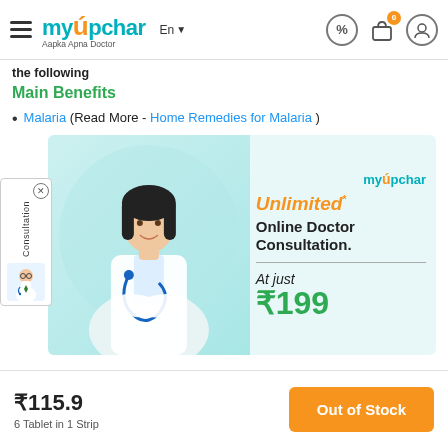myUpchar - Aapka Apna Doctor | En | icons
the following
Main Benefits
Malaria (Read More - Home Remedies for Malaria)
[Figure (advertisement): myUpchar advertisement banner showing a female doctor in white coat with stethoscope. Text reads: myUpchar, Unlimited Online Doctor Consultation. At just ₹199]
₹115.9 | 6 Tablet in 1 Strip | Out of Stock